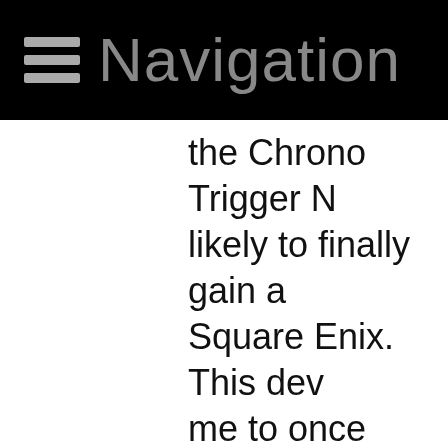Navigation
the Chrono Trigger No likely to finally gain a Square Enix. This dev me to once again ma achievement, right up on work and family. T biggest update I coul time.
To address the earlier